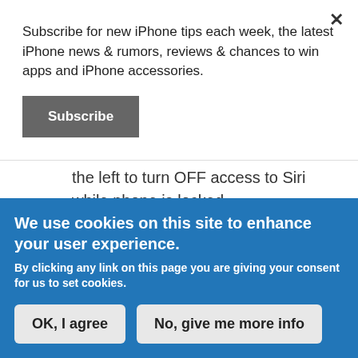Subscribe for new iPhone tips each week, the latest iPhone news & rumors, reviews & chances to win apps and iPhone accessories.
Subscribe
the left to turn OFF access to Siri while phone is locked.
smilk replied on November 22, 2015
We use cookies on this site to enhance your user experience.
By clicking any link on this page you are giving your consent for us to set cookies.
OK, I agree
No, give me more info